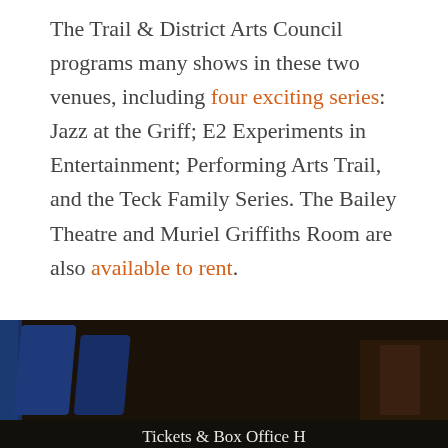The Trail & District Arts Council programs many shows in these two venues, including four exciting series: Jazz at the Griff; E2 Experiments in Entertainment; Performing Arts Trail, and the Teck Family Series. The Bailey Theatre and Muriel Griffiths Room are also available to rent.
Please note: The Bailey Theatre currently had some major upgrades! Learn more about the renovations here.
[Figure (photo): Dark interior photo of a theatre with blue seat backs visible. Bottom of image shows partial text 'Tickets & Box Office Hours' in white.]